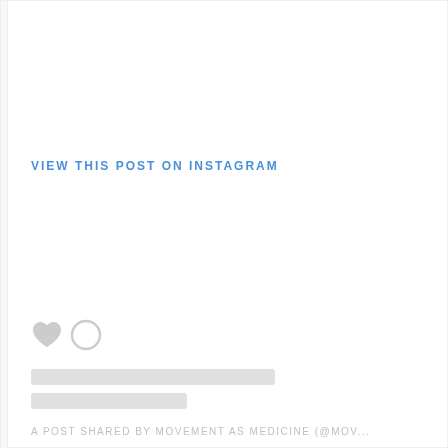VIEW THIS POST ON INSTAGRAM
[Figure (screenshot): Instagram embed placeholder with heart and comment icons, two gray placeholder text bars]
A POST SHARED BY MOVEMENT AS MEDICINE (@MOV...